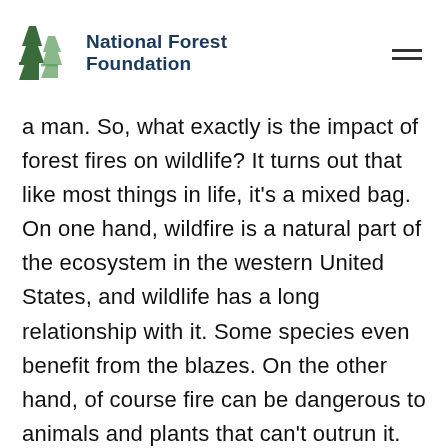National Forest Foundation
a man. So, what exactly is the impact of forest fires on wildlife? It turns out that like most things in life, it's a mixed bag. On one hand, wildfire is a natural part of the ecosystem in the western United States, and wildlife has a long relationship with it. Some species even benefit from the blazes. On the other hand, of course fire can be dangerous to animals and plants that can't outrun it.
Some animals do die in the flames of wildfires, mostly the elderly and very young animals who can't escape. However, the